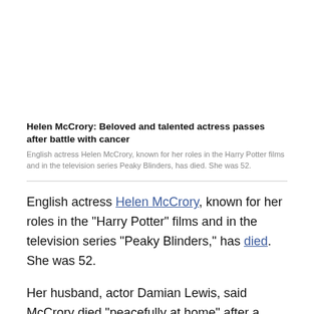Helen McCrory: Beloved and talented actress passes after battle with cancer
English actress Helen McCrory, known for her roles in the Harry Potter films and in the television series Peaky Blinders, has died. She was 52.
English actress Helen McCrory, known for her roles in the "Harry Potter" films and in the television series "Peaky Blinders," has died. She was 52.
Her husband, actor Damian Lewis, said McCrory died "peacefully at home" after a "heroic battle with cancer."
"She died as she lived. Fearlessly," Lewis wrote on